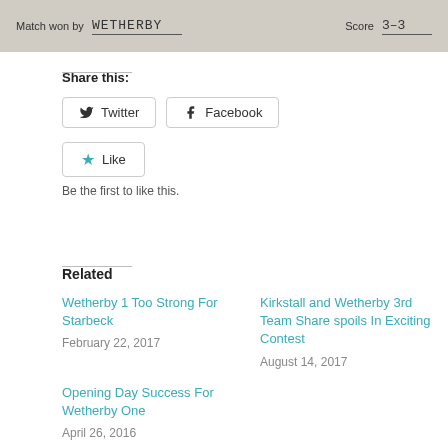[Figure (photo): Scanned form showing 'Match won by WETHERBY' and 'Score 3-3' handwritten fields]
Share this:
Twitter  Facebook
Like
Be the first to like this.
Related
Wetherby 1 Too Strong For Starbeck
February 22, 2017
Kirkstall and Wetherby 3rd Team Share spoils In Exciting Contest
August 14, 2017
Opening Day Success For Wetherby One
April 26, 2016